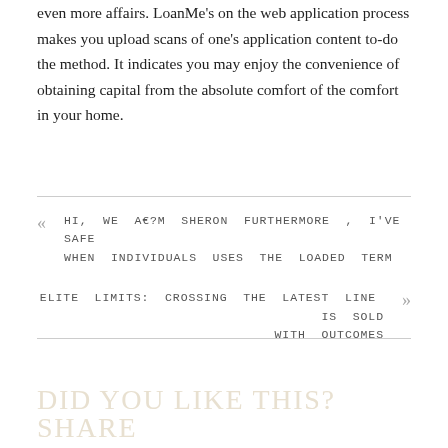even more affairs. LoanMe's on the web application process makes you upload scans of one's application content to-do the method. It indicates you may enjoy the convenience of obtaining capital from the absolute comfort of the comfort in your home.
« HI, WE A€?M SHERON FURTHERMORE , I'VE SAFE WHEN INDIVIDUALS USES THE LOADED TERM
ELITE LIMITS: CROSSING THE LATEST LINE IS SOLD WITH OUTCOMES »
DID YOU LIKE THIS? SHARE